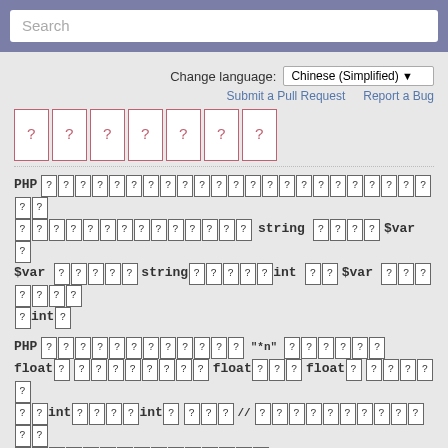Search
Change language: Chinese (Simplified)
Submit a Pull Request   Report a Bug
[Chinese characters - rendered as boxes]
PHP [Chinese text] string [chars] $var [char] $var [chars] string[chars]int [chars] $var [chars] [char]int[char]
PHP [Chinese text] "*" [chars] float[chars] float[chars] float[chars] [chars]int[chars]int[chars] [//] [chars] [chars]